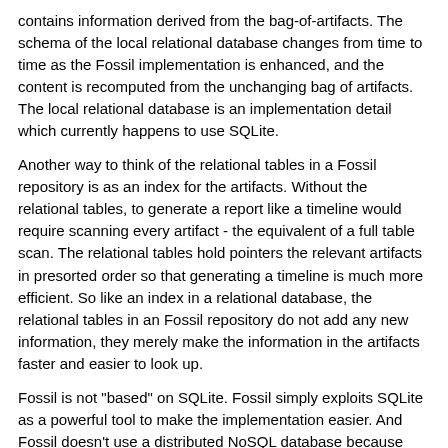contains information derived from the bag-of-artifacts. The schema of the local relational database changes from time to time as the Fossil implementation is enhanced, and the content is recomputed from the unchanging bag of artifacts. The local relational database is an implementation detail which currently happens to use SQLite.
Another way to think of the relational tables in a Fossil repository is as an index for the artifacts. Without the relational tables, to generate a report like a timeline would require scanning every artifact - the equivalent of a full table scan. The relational tables hold pointers the relevant artifacts in presorted order so that generating a timeline is much more efficient. So like an index in a relational database, the relational tables in an Fossil repository do not add any new information, they merely make the information in the artifacts faster and easier to look up.
Fossil is not "based" on SQLite. Fossil simply exploits SQLite as a powerful tool to make the implementation easier. And Fossil doesn't use a distributed NoSQL database because Fossil is a distributed NoSQL database. That answers the first question.
SQL Is A High-Level Scripting Language
The second concern states that Fossil does not use a high-level scripting language. But that is not true. Fossil uses SQL (as implemented by SQLite) as its scripting language.